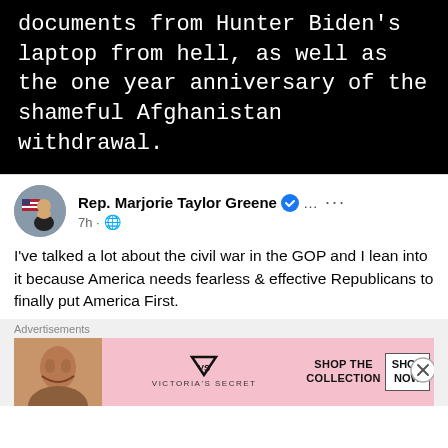[Figure (screenshot): Dark/black background social media post screenshot showing white monospace text: 'documents from Hunter Biden's laptop from hell, as well as the one year anniversary of the shameful Afghanistan withdrawal.']
Rep. Marjorie Taylor Greene ✓ … ···
7h · 🌐
I've talked a lot about the civil war in the GOP and I lean into it because America needs fearless & effective Republicans to finally put America First.
Advertisements
[Figure (photo): Victoria's Secret advertisement banner with model photo on left, VS logo and 'SHOP THE COLLECTION' text in center, 'SHOP NOW' button on right, pink background.]